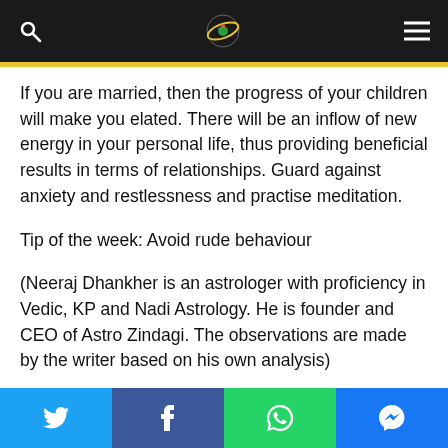Navigation bar with search, logo, and menu icons
If you are married, then the progress of your children will make you elated. There will be an inflow of new energy in your personal life, thus providing beneficial results in terms of relationships. Guard against anxiety and restlessness and practise meditation.
Tip of the week: Avoid rude behaviour
(Neeraj Dhankher is an astrologer with proficiency in Vedic, KP and Nadi Astrology. He is founder and CEO of Astro Zindagi. The observations are made by the writer based on his own analysis)
--IANS
Social sharing bar: Twitter, Facebook, WhatsApp, Messenger